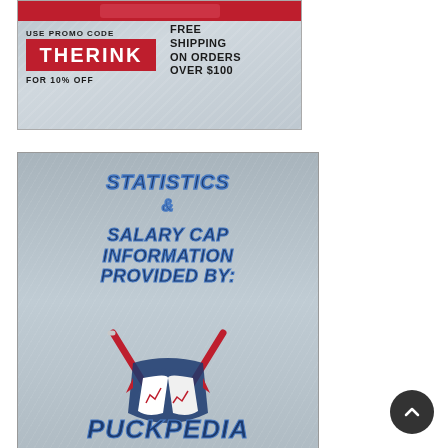[Figure (illustration): Advertisement banner on ice rink texture background. Text reads: USE PROMO CODE THERINK FOR 10% OFF | FREE SHIPPING ON ORDERS OVER $100. THERINK is in bold red block letters.]
[Figure (illustration): Puckpedia promotional graphic on ice rink texture background. Bold italic blue outlined text reads: STATISTICS & SALARY CAP INFORMATION PROVIDED BY: followed by the Puckpedia logo featuring crossed hockey sticks, an open book with a stats chart, and 'PUCKPEDIA' text in large navy/red/white letters.]